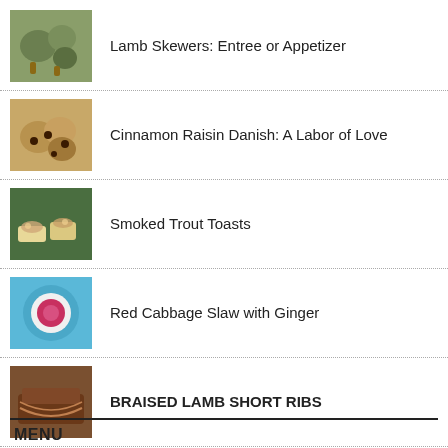Lamb Skewers: Entree or Appetizer
Cinnamon Raisin Danish: A Labor of Love
Smoked Trout Toasts
Red Cabbage Slaw with Ginger
BRAISED LAMB SHORT RIBS
Supper Club Wrap Up: Better late than never
MENU